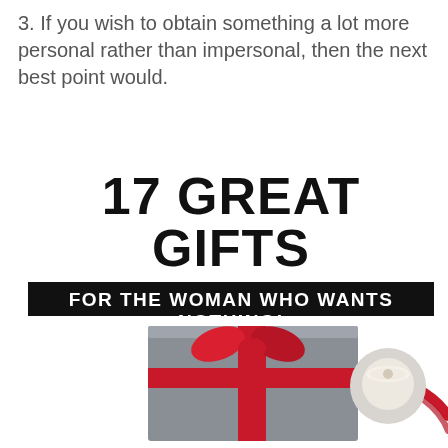3. If you wish to obtain something a lot more personal rather than impersonal, then the next best point would.
[Figure (infographic): Infographic banner reading '17 GREAT GIFTS' in large bold text, with a black banner below reading 'FOR THE WOMAN WHO WANTS NOTHING!']
[Figure (photo): Photo of a gray gift-wrapped book with a red ribbon and a small candle on a white background.]